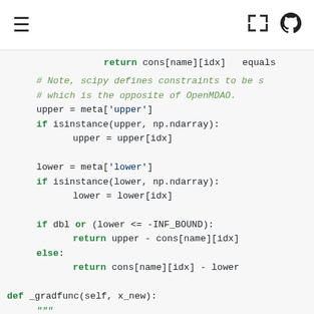≡  [expand] [github]
return cons[name][idx]   equals
# Note, scipy defines constraints to be s
# which is the opposite of OpenMDAO.
upper = meta['upper']
if isinstance(upper, np.ndarray):
        upper = upper[idx]

lower = meta['lower']
if isinstance(lower, np.ndarray):
        lower = lower[idx]

if dbl or (lower <= -INF_BOUND):
        return upper - cons[name][idx]
else:
        return cons[name][idx] - lower

def _gradfunc(self, x_new):
    """
    Evaluate and return the gradient for the

    Gradients for the constraints are also ca

    Parameters